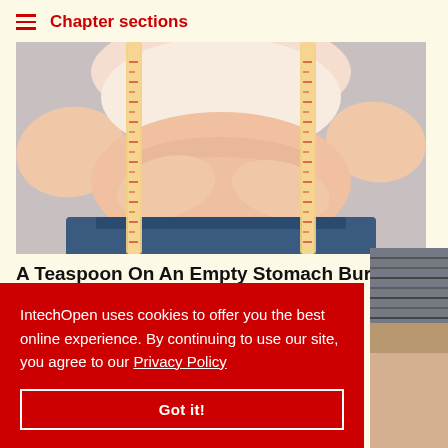Chapter sections
[Figure (photo): Person squeezing belly fat with a measuring tape around their midsection, wearing a white top and blue jeans]
A Teaspoon On An Empty Stomach Burns 12 Lbs Of Fat Per Week
Women's Health News
IntechOpen uses cookies to offer you the best online experience. By continuing to use our site, you agree to our Privacy Policy
Got it!